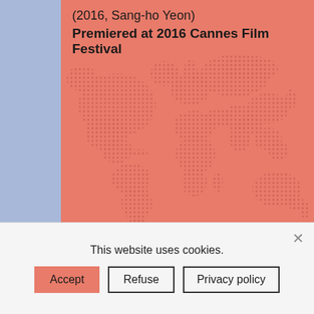TRAIN TO BUSAN
(2016, Sang-ho Yeon)
Premiered at 2016 Cannes Film Festival
[Figure (illustration): World map rendered as a dotted/halftone pattern on a salmon/coral colored background]
This website uses cookies.
Accept
Refuse
Privacy policy